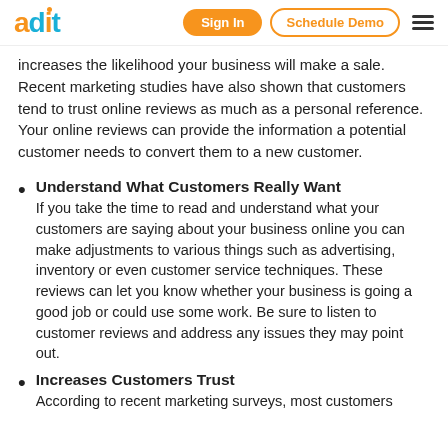adit | Sign In | Schedule Demo
increases the likelihood your business will make a sale. Recent marketing studies have also shown that customers tend to trust online reviews as much as a personal reference. Your online reviews can provide the information a potential customer needs to convert them to a new customer.
Understand What Customers Really Want
If you take the time to read and understand what your customers are saying about your business online you can make adjustments to various things such as advertising, inventory or even customer service techniques. These reviews can let you know whether your business is going a good job or could use some work. Be sure to listen to customer reviews and address any issues they may point out.
Increases Customers Trust
According to recent marketing surveys, most customers...